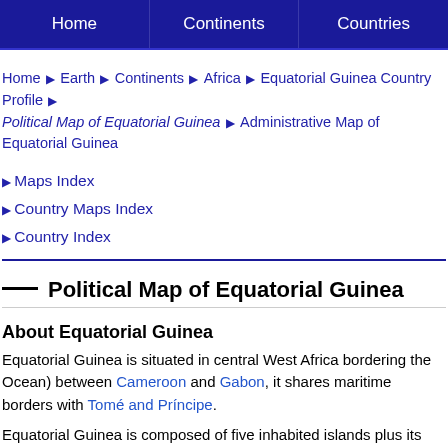Home | Continents | Countries
Home ▶ Earth ▶ Continents ▶ Africa ▶ Equatorial Guinea Country Profile ▶ Political Map of Equatorial Guinea ▶ Administrative Map of Equatorial Guinea
▶ Maps Index
▶ Country Maps Index
▶ Country Index
Political Map of Equatorial Guinea
About Equatorial Guinea
Equatorial Guinea is situated in central West Africa bordering the (Ocean) between Cameroon and Gabon, it shares maritime borders with São Tomé and Príncipe.
Equatorial Guinea is composed of five inhabited islands plus its mainland: Río Muni. With an area of 28,000 km² the country is s